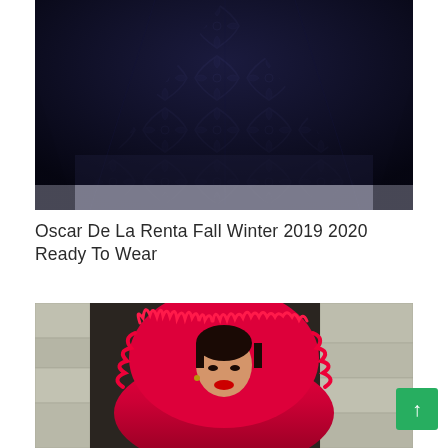[Figure (photo): Close-up of a dark navy/black velvet fabric with geometric quatrefoil/diamond lattice embroidered or woven pattern, showing the skirt portion of a fashion garment]
Oscar De La Renta Fall Winter 2019 2020 Ready To Wear
[Figure (photo): A model wearing a voluminous hot pink/magenta fluffy fur-trimmed coat with large hood, red lipstick, standing in front of a stone building facade]